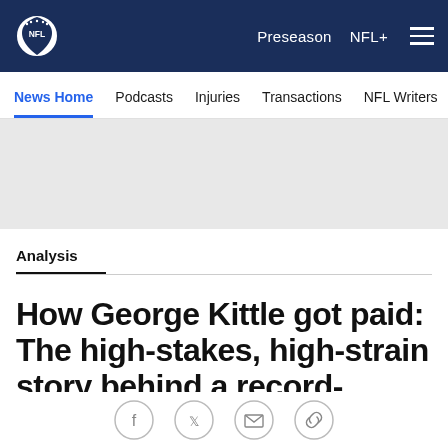NFL logo | Preseason | NFL+ | Menu
News Home | Podcasts | Injuries | Transactions | NFL Writers | Se
[Figure (other): Gray advertisement placeholder banner]
Analysis
How George Kittle got paid: The high-stakes, high-strain story behind a record-setting deal
[Figure (other): Social share icons: Facebook, Twitter, Email, Link]